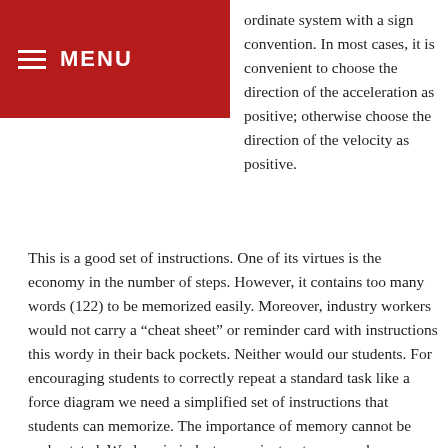MENU
ordinate system with a sign convention. In most cases, it is convenient to choose the direction of the acceleration as positive; otherwise choose the direction of the velocity as positive.
This is a good set of instructions. One of its virtues is the economy in the number of steps. However, it contains too many words (122) to be memorized easily. Moreover, industry workers would not carry a “cheat sheet” or reminder card with instructions this wordy in their back pockets. Neither would our students. For encouraging students to correctly repeat a standard task like a force diagram we need a simplified set of instructions that students can memorize. The importance of memory cannot be understated. Workers in industry, my instructor assured us, memorize the job tasks early on and then do the job from memory. And while we want our students to analyze the forces acting on any system with their critical thinking hats on, at the same time they will be both comforted and more successful having